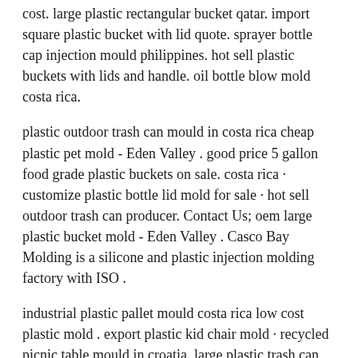cost. large plastic rectangular bucket qatar. import square plastic bucket with lid quote. sprayer bottle cap injection mould philippines. hot sell plastic buckets with lids and handle. oil bottle blow mold costa rica.
plastic outdoor trash can mould in costa rica cheap plastic pet mold - Eden Valley . good price 5 gallon food grade plastic buckets on sale. costa rica · customize plastic bottle lid mold for sale · hot sell outdoor trash can producer. Contact Us; oem large plastic bucket mold - Eden Valley . Casco Bay Molding is a silicone and plastic injection molding factory with ISO .
industrial plastic pallet mould costa rica low cost plastic mold . export plastic kid chair mold · recycled picnic table mould in croatia. large plastic trash can mould in costa rica · big plastic bucket mold ontario. Contact Us; plastic roll pallet mould canada - Shelley Appleton .
Results 1 - 48 of 157. Welcome to the premier industrial